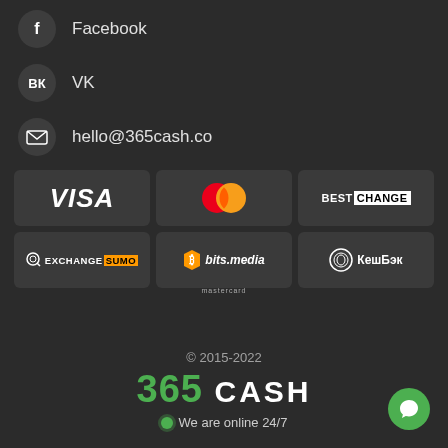Facebook
VK
hello@365cash.co
[Figure (logo): Partner logos grid: VISA, Mastercard, BestChange, ExchangeSumo, bits.media, КешБэк]
© 2015-2022
365 CASH
We are online 24/7